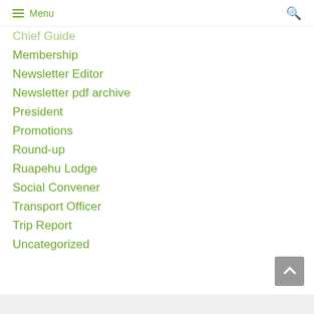Menu
Chief Guide
Membership
Newsletter Editor
Newsletter pdf archive
President
Promotions
Round-up
Ruapehu Lodge
Social Convener
Transport Officer
Trip Report
Uncategorized